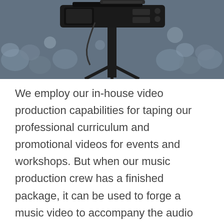[Figure (photo): A close-up photograph of a professional video camera on a tripod with a blurred crowd audience in the background.]
We employ our in-house video production capabilities for taping our professional curriculum and promotional videos for events and workshops. But when our music production crew has a finished package, it can be used to forge a music video to accompany the audio project. Einstein said: Creativity is Genius at play.